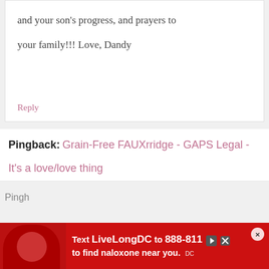and your son's progress, and prayers to your family!!! Love, Dandy
Reply
Pingback: Grain-Free FAUXrridge - GAPS Legal - It's a love/love thing
Pingh...
[Figure (screenshot): Advertisement banner: Text LiveLongDC to 888-811 to find naloxone near you. Red background with person image on left and close button on right.]